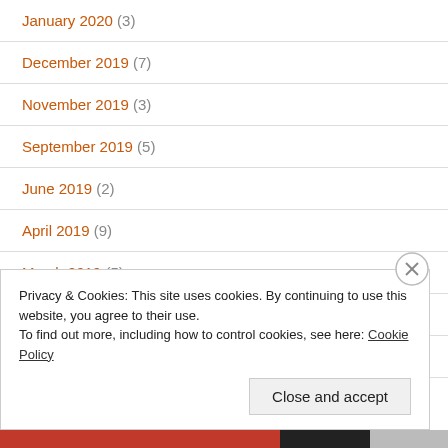January 2020 (3)
December 2019 (7)
November 2019 (3)
September 2019 (5)
June 2019 (2)
April 2019 (9)
March 2019 (5)
January 2019 (4)
December 2018 (1)
Privacy & Cookies: This site uses cookies. By continuing to use this website, you agree to their use.
To find out more, including how to control cookies, see here: Cookie Policy
Close and accept